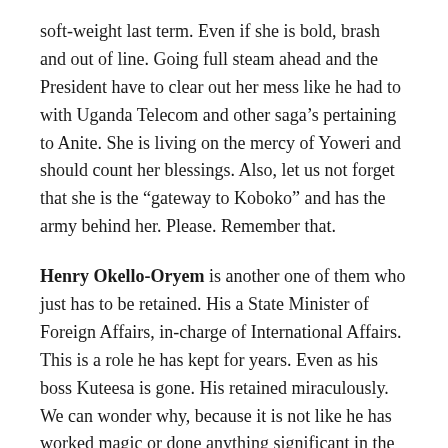soft-weight last term. Even if she is bold, brash and out of line. Going full steam ahead and the President have to clear out her mess like he had to with Uganda Telecom and other saga’s pertaining to Anite. She is living on the mercy of Yoweri and should count her blessings. Also, let us not forget that she is the “gateway to Koboko” and has the army behind her. Please. Remember that.
Henry Okello-Oryem is another one of them who just has to be retained. His a State Minister of Foreign Affairs, in-charge of International Affairs. This is a role he has kept for years. Even as his boss Kuteesa is gone. His retained miraculously. We can wonder why, because it is not like he has worked magic or done anything significant in the previous of years. His there because Museveni trust him